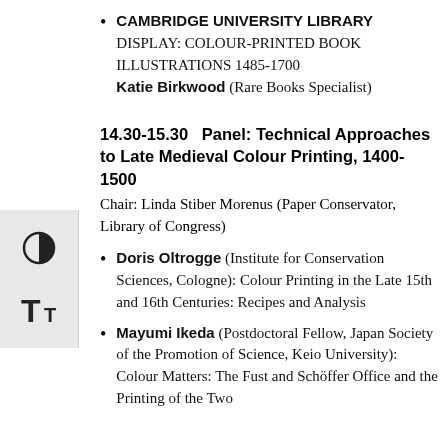CAMBRIDGE UNIVERSITY LIBRARY DISPLAY: COLOUR-PRINTED BOOK ILLUSTRATIONS 1485-1700 Katie Birkwood (Rare Books Specialist)
14.30-15.30   Panel: Technical Approaches to Late Medieval Colour Printing, 1400-1500
Chair: Linda Stiber Morenus (Paper Conservator, Library of Congress)
Doris Oltrogge (Institute for Conservation Sciences, Cologne): Colour Printing in the Late 15th and 16th Centuries: Recipes and Analysis
Mayumi Ikeda (Postdoctoral Fellow, Japan Society of the Promotion of Science, Keio University): Colour Matters: The Fust and Schöffer Office and the Printing of the Two